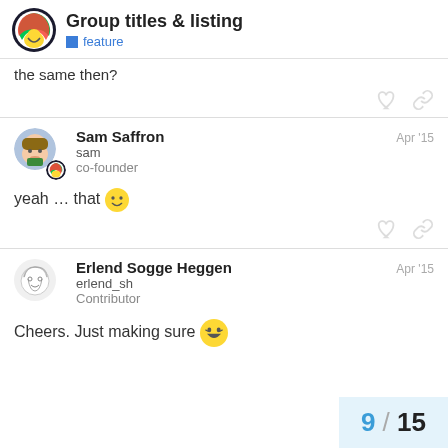Group titles & listing | feature
the same then?
Sam Saffron  Apr '15
sam
co-founder
yeah … that 🙂
Erlend Sogge Heggen  Apr '15
erlend_sh
Contributor
Cheers. Just making sure 😁
9 / 15